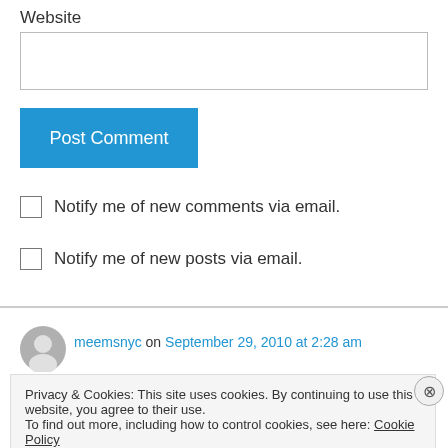Website
Post Comment
Notify me of new comments via email.
Notify me of new posts via email.
meemsnyc on September 29, 2010 at 2:28 am
Privacy & Cookies: This site uses cookies. By continuing to use this website, you agree to their use.
To find out more, including how to control cookies, see here: Cookie Policy
Close and accept